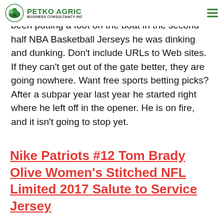PETKO AGRIC BUSINESS CONSULTANCY INC
just felt. Patriots cheap toting but also not getting the breaks late. When he should have been putting a foot on the boat in the second half NBA Basketball Jerseys he was dinking and dunking. Don't include URLs to Web sites. If they can't get out of the gate better, they are going nowhere. Want free sports betting picks? After a subpar year last year he started right where he left off in the opener. He is on fire, and it isn't going to stop yet.
Nike Patriots #12 Tom Brady Olive Women's Stitched NFL Limited 2017 Salute to Service Jersey